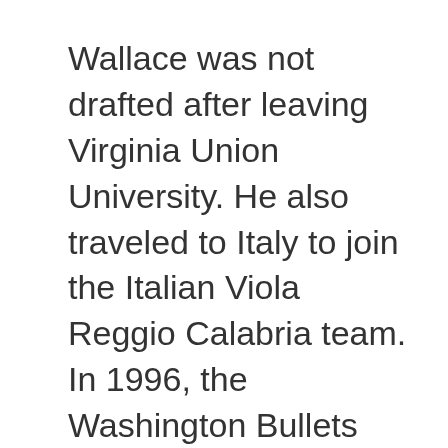Wallace was not drafted after leaving Virginia Union University. He also traveled to Italy to join the Italian Viola Reggio Calabria team. In 1996, the Washington Bullets signed him as a rookie agent.